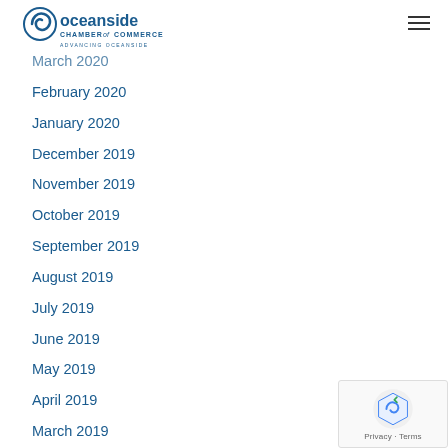Oceanside Chamber of Commerce - Advancing Oceanside
March 2020
February 2020
January 2020
December 2019
November 2019
October 2019
September 2019
August 2019
July 2019
June 2019
May 2019
April 2019
March 2019
February 2019